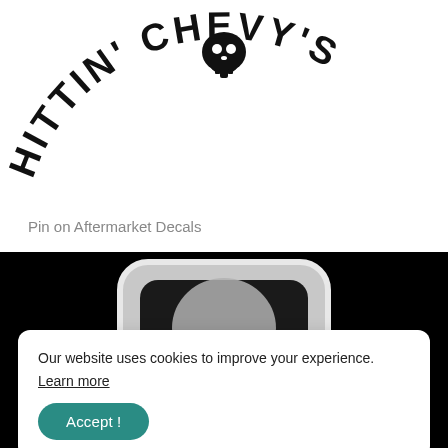[Figure (logo): Partial circular logo with bold black text reading 'HITTIN' CHEVY' arranged in an arc, with a skull/bulldog-style icon at the top center, on a white background.]
Pin on Aftermarket Decals
[Figure (photo): Photo of a silver chrome shield-shaped automotive emblem/badge on a black background, with a partial skull emblem visible at the bottom edge.]
Our website uses cookies to improve your experience. Learn more
Accept !